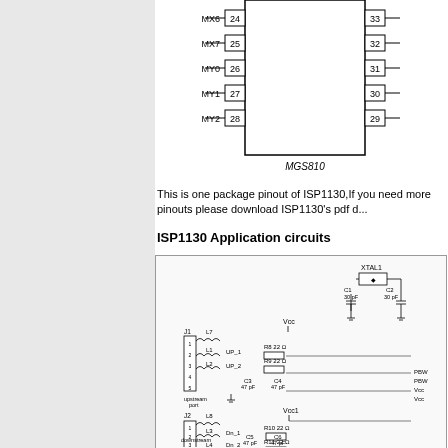[Figure (schematic): Partial pinout diagram of ISP1130 chip showing pins MX6(24), MX7(25), MY0(26), MY1(27), MY2(28) on left side and pins 33,32,31,30,29 on right side. Label MGS810 at bottom.]
This is one package pinout of ISP1130,If you need more pinouts please download ISP1130's pdf datasheet.
ISP1130 Application circuits
[Figure (circuit-diagram): ISP1130 application circuit showing upstream port J1 with inductors L7,L1,L2, capacitors C3(47pF),C4(47pF), resistors R8(22Ω),R9(22Ω), and downstream port J2 with inductors L8,L3,L4, capacitors C5(47pF),C6(47pF), resistors R10(22Ω),R11(22Ω). Crystal XTAL1 6MHz with capacitors C1(30pF),C2(30pF). Power supply connections VCC and VCC1. Right side shows connections PBW, PBW, Vcc, Vcc.]